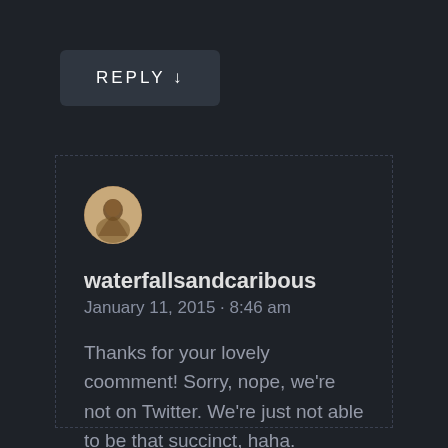REPLY ↓
[Figure (illustration): User avatar: circular profile image with warm tan/brown tones showing a silhouette of a person]
waterfallsandcaribous
January 11, 2015 · 8:46 am
Thanks for your lovely coomment! Sorry, nope, we're not on Twitter. We're just not able to be that succinct, haha.
REPLY ↓